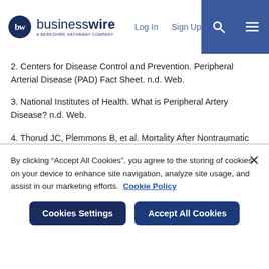businesswire — A Berkshire Hathaway Company | Log In | Sign Up
2. Centers for Disease Control and Prevention. Peripheral Arterial Disease (PAD) Fact Sheet. n.d. Web.
3. National Institutes of Health. What is Peripheral Artery Disease? n.d. Web.
4. Thorud JC, Plemmons B, et al. Mortality After Nontraumatic Major Amputation Among Patients With Diabetes and Peripheral Vascular Disease: A Systematic Review. J Foot Ankle Surg. 2016 May-June; 55(3):591-9.
By clicking “Accept All Cookies”, you agree to the storing of cookies on your device to enhance site navigation, analyze site usage, and assist in our marketing efforts. Cookie Policy
Cookies Settings | Accept All Cookies